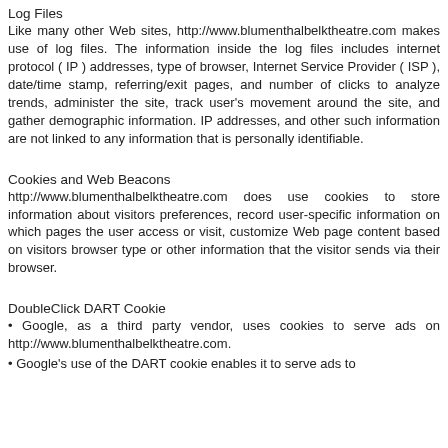Log Files
Like many other Web sites, http://www.blumenthalbelktheatre.com makes use of log files. The information inside the log files includes internet protocol ( IP ) addresses, type of browser, Internet Service Provider ( ISP ), date/time stamp, referring/exit pages, and number of clicks to analyze trends, administer the site, track user's movement around the site, and gather demographic information. IP addresses, and other such information are not linked to any information that is personally identifiable.
Cookies and Web Beacons
http://www.blumenthalbelktheatre.com does use cookies to store information about visitors preferences, record user-specific information on which pages the user access or visit, customize Web page content based on visitors browser type or other information that the visitor sends via their browser.
DoubleClick DART Cookie
• Google, as a third party vendor, uses cookies to serve ads on http://www.blumenthalbelktheatre.com.
• Google's use of the DART cookie enables it to serve ads to